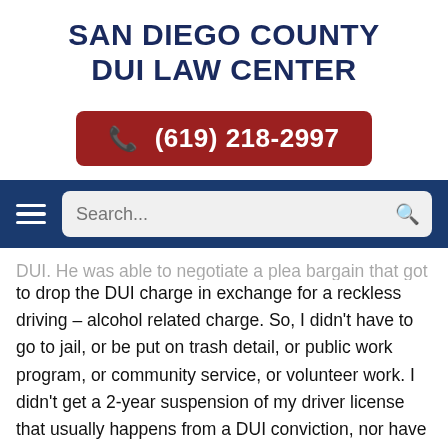SAN DIEGO COUNTY DUI LAW CENTER
[Figure (other): Red rounded button with phone icon and number (619) 218-2997]
[Figure (other): Blue navigation bar with hamburger menu icon and search box]
DUI. He was able to negotiate a plea bargain that got them to drop the DUI charge in exchange for a reckless driving – alcohol related charge. So, I didn't have to go to jail, or be put on trash detail, or public work program, or community service, or volunteer work. I didn't get a 2-year suspension of my driver license that usually happens from a DUI conviction, nor have my Vehicle Impounded or be required to install an Ignition Interlock Device. My fine was less than half of the normal $2539+ DUI fine. I did have to pay a fine